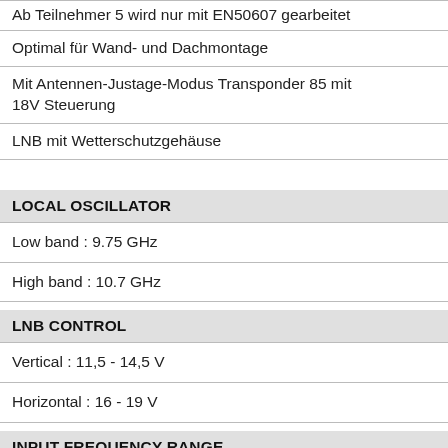Ab Teilnehmer 5 wird nur mit EN50607 gearbeitet
Optimal für Wand- und Dachmontage
Mit Antennen-Justage-Modus Transponder 85 mit 18V Steuerung
LNB mit Wetterschutzgehäuse
LOCAL OSCILLATOR
Low band : 9.75 GHz
High band : 10.7 GHz
LNB CONTROL
Vertical : 11,5 - 14,5 V
Horizontal : 16 - 19 V
INPUT FREQUENCY RANGE
Low band : 10.7 ... 11.7 GHz
High band : 11.7 ... 12.75 GHz